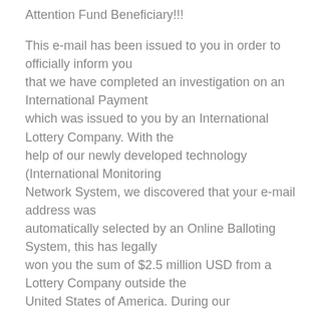Attention Fund Beneficiary!!!
This e-mail has been issued to you in order to officially inform you that we have completed an investigation on an International Payment which was issued to you by an International Lottery Company. With the help of our newly developed technology (International Monitoring Network System, we discovered that your e-mail address was automatically selected by an Online Balloting System, this has legally won you the sum of $2.5 million USD from a Lottery Company outside the United States of America. During our investigation, we discovered that